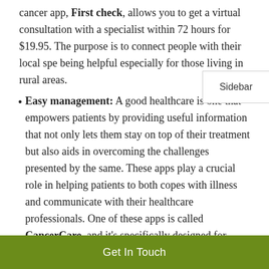cancer app, First check, allows you to get a virtual consultation with a specialist within 72 hours for $19.95. The purpose is to connect people with their local spe… being helpful especially for those living in rural areas.
Easy management: A good healthcare is one that empowers patients by providing useful information that not only lets them stay on top of their treatment but also aids in overcoming the challenges presented by the same. These apps play a crucial role in helping patients to both copes with illness and communicate with their healthcare professionals. One of these apps is called CancerCare, and it's specifically designed for families with children fighting cancer, who need complex resources for tracking and education, in terms of medications, blood counts, and scheduling doctor visits. The app allows parents to organize
Get In Touch